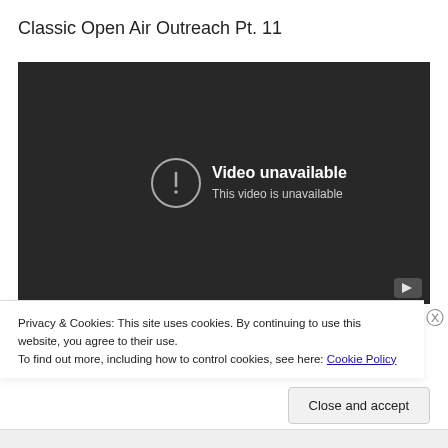Classic Open Air Outreach Pt. 11
[Figure (screenshot): Embedded YouTube video player showing 'Video unavailable - This video is unavailable' message on a dark background]
Privacy & Cookies: This site uses cookies. By continuing to use this website, you agree to their use.
To find out more, including how to control cookies, see here: Cookie Policy
Close and accept